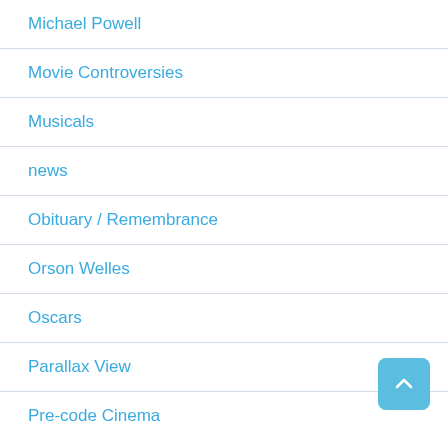Michael Powell
Movie Controversies
Musicals
news
Obituary / Remembrance
Orson Welles
Oscars
Parallax View
Pre-code Cinema